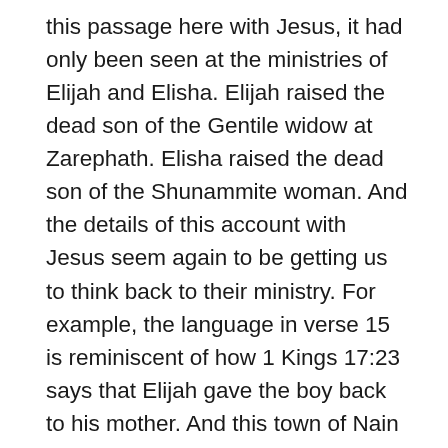this passage here with Jesus, it had only been seen at the ministries of Elijah and Elisha. Elijah raised the dead son of the Gentile widow at Zarephath. Elisha raised the dead son of the Shunammite woman. And the details of this account with Jesus seem again to be getting us to think back to their ministry. For example, the language in verse 15 is reminiscent of how 1 Kings 17:23 says that Elijah gave the boy back to his mother. And this town of Nain is thought to have been nearby the town where the Shunammite woman lived for whom Elisha raised her son from death. So, we should naturally think of these resurrections that Elijah and Elisha performed. It's why the people can exclaim in verse 16 that a great prophet has arisen among them. They realized how Jesus' miracle here put him in the category of Elijah and Elisha, and even greater.